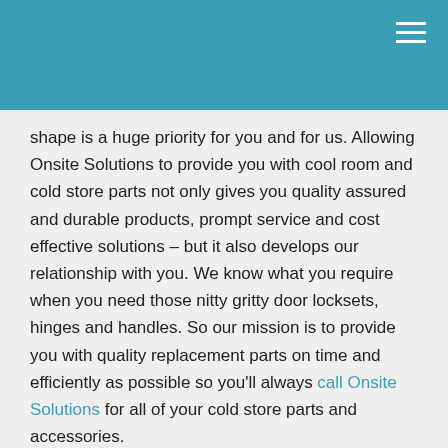[Teal header bar with hamburger menu icon]
shape is a huge priority for you and for us. Allowing Onsite Solutions to provide you with cool room and cold store parts not only gives you quality assured and durable products, prompt service and cost effective solutions – but it also develops our relationship with you. We know what you require when you need those nitty gritty door locksets, hinges and handles. So our mission is to provide you with quality replacement parts on time and efficiently as possible so you'll always call Onsite Solutions for all of your cold store parts and accessories.
Our independent unparalleled advice and unbiased connections to a particular supplier also allows us to provide you with an extensive range of cool room and cold store parts. You can trust Onsite Solutions to provide you with quality assured, durable and cost efficient cool room parts selected from a variety of trusted suppliers.